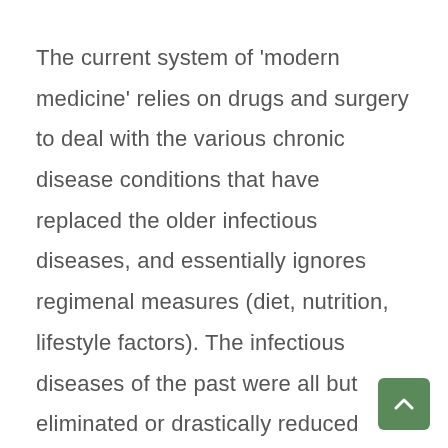The current system of 'modern medicine' relies on drugs and surgery to deal with the various chronic disease conditions that have replaced the older infectious diseases, and essentially ignores regimenal measures (diet, nutrition, lifestyle factors). The infectious diseases of the past were all but eliminated or drastically reduced (both morbidity and mortality rates) prior to the rise of the modern medical system just after WW I